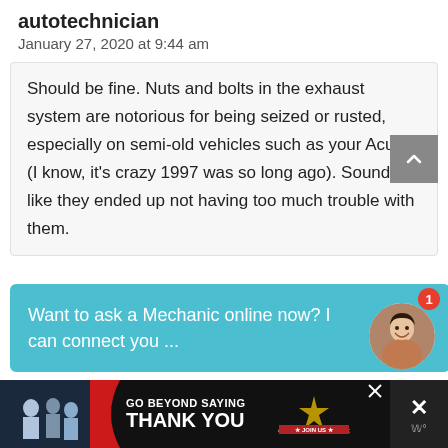autotechnician
January 27, 2020 at 9:44 am
Should be fine. Nuts and bolts in the exhaust system are notorious for being seized or rusted, especially on semi-old vehicles such as your Acura (I know, it's crazy 1997 was so long ago). Sounds like they ended up not having too much trouble with them.
Want to ask a Mechanic online now? I can connect you ...
[Figure (photo): Woman smiling, avatar photo with badge showing number 1]
[Figure (photo): Advertisement banner: GO BEYOND SAYING THANK YOU — OPERATION GRATITUDE JOIN US, with military personnel image on left]